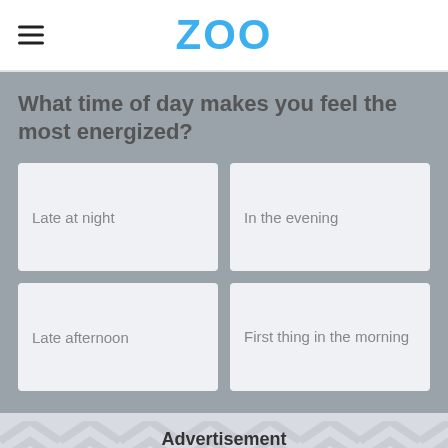ZOO
What time of day makes you feel the most energized?
Late at night
In the evening
Late afternoon
First thing in the morning
Advertisement